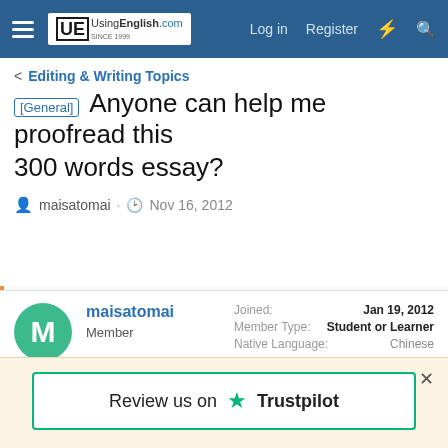UsingEnglish.com — Log in  Register
< Editing & Writing Topics
[General] Anyone can help me proofread this 300 words essay?
maisatomai · Nov 16, 2012
🔒 Not open for further replies.
maisatomai
Member
Joined: Jan 19, 2012
Member Type: Student or Learner
Native Language: Chinese
[Figure (screenshot): Trustpilot review widget overlay with 'Review us on ★ Trustpilot' button]